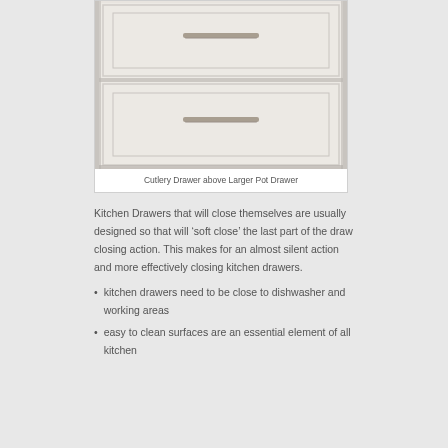[Figure (photo): Photo of two white kitchen drawers with brushed metal bar handles — a smaller cutlery drawer on top and a larger pot drawer below, both with raised panel fronts.]
Cutlery Drawer above Larger Pot Drawer
Kitchen Drawers that will close themselves are usually designed so that will ‘soft close’ the last part of the draw closing action. This makes for an almost silent action and more effectively closing kitchen drawers.
kitchen drawers need to be close to dishwasher and working areas
easy to clean surfaces are an essential element of all kitchen